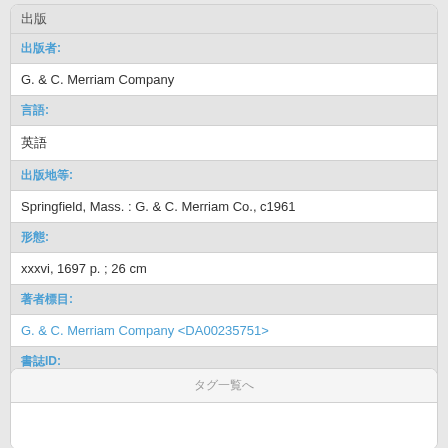出版
出版者:
G. & C. Merriam Company
言語:
英語
出版地等:
Springfield, Mass. : G. & C. Merriam Co., c1961
形態:
xxxvi, 1697 p. ; 26 cm
著者標目:
G. & C. Merriam Company <DA00235751>
書誌ID:
BA36964327
タグ一覧へ